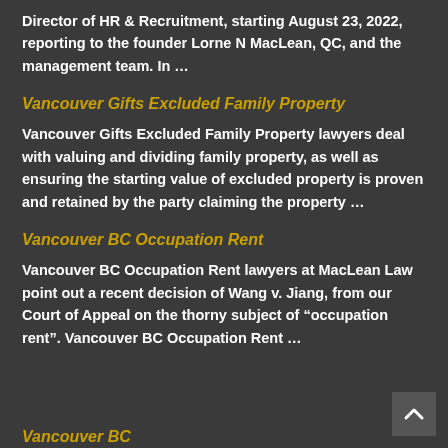Director of HR & Recruitment, starting August 23, 2022, reporting to the founder Lorne N MacLean, QC, and the management team. In …
Vancouver Gifts Excluded Family Property
Vancouver Gifts Excluded Family Property lawyers deal with valuing and dividing family property, as well as ensuring the starting value of excluded property is proven and retained by the party claiming the property …
Vancouver BC Occupation Rent
Vancouver BC Occupation Rent lawyers at MacLean Law point out a recent decision of Wang v. Jiang, from our Court of Appeal on the thorny subject of “occupation rent”. Vancouver BC Occupation Rent …
Vancouver BC